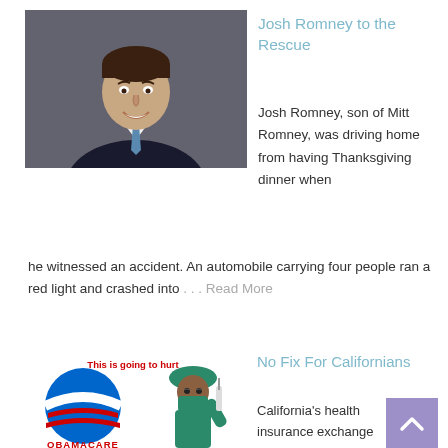[Figure (photo): Professional headshot of Josh Romney, a man in a dark suit with a blue tie, smiling, against a grey background]
Josh Romney to the Rescue
Josh Romney, son of Mitt Romney, was driving home from having Thanksgiving dinner when he witnessed an accident. An automobile carrying four people ran a red light and crashed into . . . Read More
[Figure (infographic): Obamacare parody image showing the Obama campaign logo with 'OBAMACARE' text below, and a figure dressed as a surgeon holding a needle with text 'This is going to hurt']
No Fix For Californians
California's health insurance exchange board of directors has